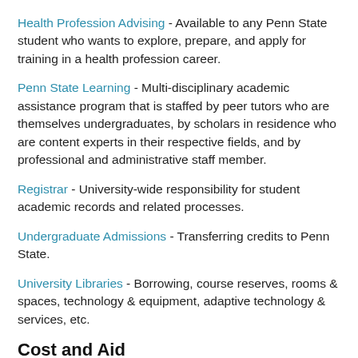Health Profession Advising - Available to any Penn State student who wants to explore, prepare, and apply for training in a health profession career.
Penn State Learning - Multi-disciplinary academic assistance program that is staffed by peer tutors who are themselves undergraduates, by scholars in residence who are content experts in their respective fields, and by professional and administrative staff member.
Registrar - University-wide responsibility for student academic records and related processes.
Undergraduate Admissions - Transferring credits to Penn State.
University Libraries - Borrowing, course reserves, rooms & spaces, technology & equipment, adaptive technology & services, etc.
Cost and Aid